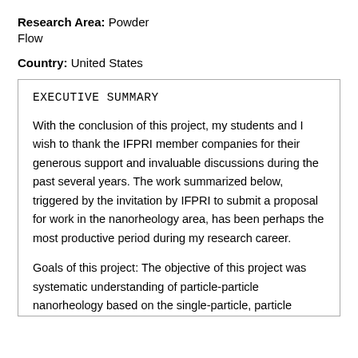Research Area: Powder Flow
Country: United States
EXECUTIVE SUMMARY
With the conclusion of this project, my students and I wish to thank the IFPRI member companies for their generous support and invaluable discussions during the past several years. The work summarized below, triggered by the invitation by IFPRI to submit a proposal for work in the nanorheology area, has been perhaps the most productive period during my research career.
Goals of this project: The objective of this project was systematic understanding of particle-particle nanorheology based on the single-particle, particle